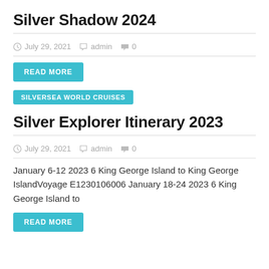Silver Shadow 2024
July 29, 2021   admin   0
READ MORE
SILVERSEA WORLD CRUISES
Silver Explorer Itinerary 2023
July 29, 2021   admin   0
January 6-12 2023 6 King George Island to King George IslandVoyage E1230106006 January 18-24 2023 6 King George Island to
READ MORE